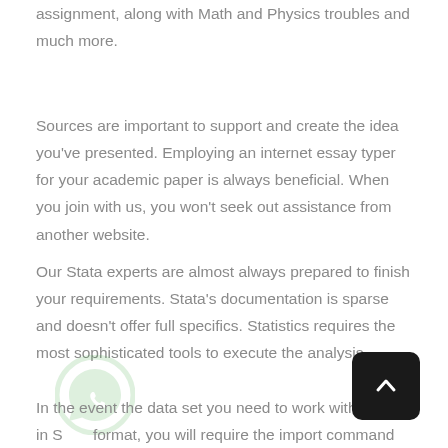assignment, along with Math and Physics troubles and much more.
Sources are important to support and create the idea you've presented. Employing an internet essay typer for your academic paper is always beneficial. When you join with us, you won't seek out assistance from another website.
Our Stata experts are almost always prepared to finish your requirements. Stata's documentation is sparse and doesn't offer full specifics. Statistics requires the most sophisticated tools to execute the analysis.
In the event the data set you need to work with is not in S format, you will require the import command rather than use.